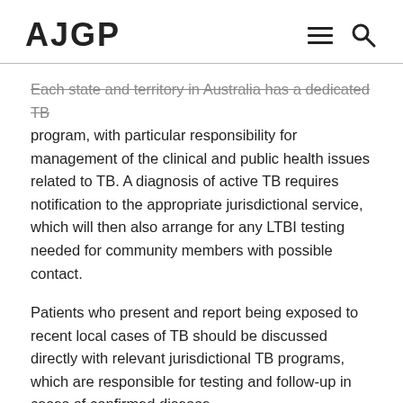AJGP
Each state and territory in Australia has a dedicated TB program, with particular responsibility for management of the clinical and public health issues related to TB. A diagnosis of active TB requires notification to the appropriate jurisdictional service, which will then also arrange for any LTBI testing needed for community members with possible contact.
Patients who present and report being exposed to recent local cases of TB should be discussed directly with relevant jurisdictional TB programs, which are responsible for testing and follow-up in cases of confirmed disease.